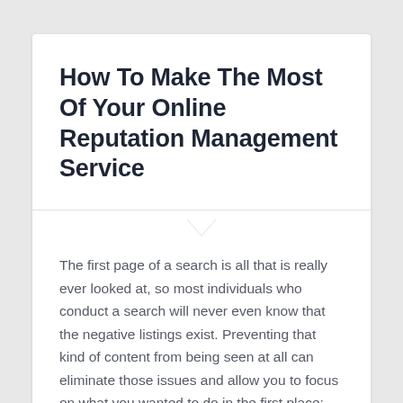How To Make The Most Of Your Online Reputation Management Service
The first page of a search is all that is really ever looked at, so most individuals who conduct a search will never even know that the negative listings exist. Preventing that kind of content from being seen at all can eliminate those issues and allow you to focus on what you wanted to do in the first place; run your company. Reputation Changer is such a company, and